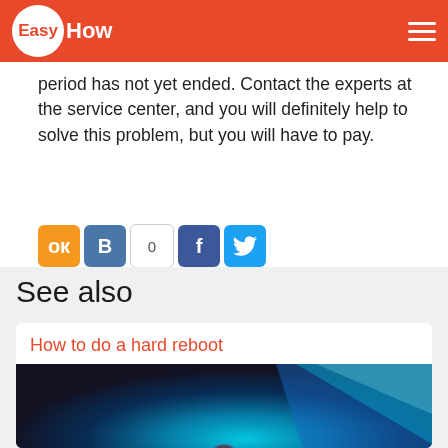EasyHow
period has not yet ended. Contact the experts at the service center, and you will definitely help to solve this problem, but you will have to pay.
[Figure (infographic): Social sharing buttons: Odnoklassniki (orange), VKontakte (blue B), share count 0 (white), Facebook (blue f), Twitter (blue bird)]
See also
How to do a hard reboot
[Figure (photo): A blue glowing light with a power button on a metallic surface]